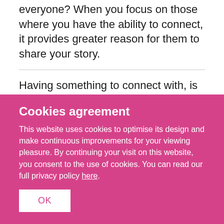everyone? When you focus on those where you have the ability to connect, it provides greater reason for them to share your story.
Having something to connect with, is about being real, not pushing a product to others via the beautiful people. People don't want something that is impersonal, they want to know that the money they spend with you
Cookies agreement
This website uses cookies to optimise its design and make continuous improvements for your viewing pleasure. By continuing your visit on this website, you consent to the use of cookies. You can read our full privacy policy here.